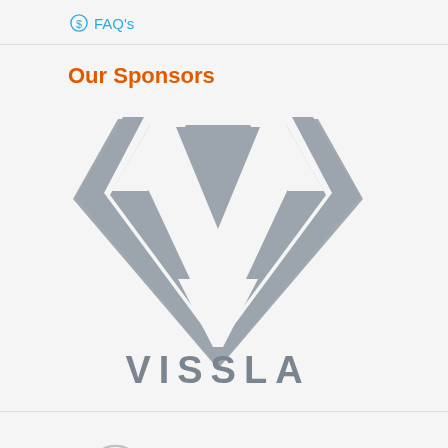FAQ's
Our Sponsors
[Figure (logo): Vissla brand logo — grey inverted triangle geometric V shape above the text VISSLA in grey capital letters]
[Figure (logo): Sisstrevolution brand logo — grey circular swirl icon followed by the lowercase text 'sisstrevolution' in grey]